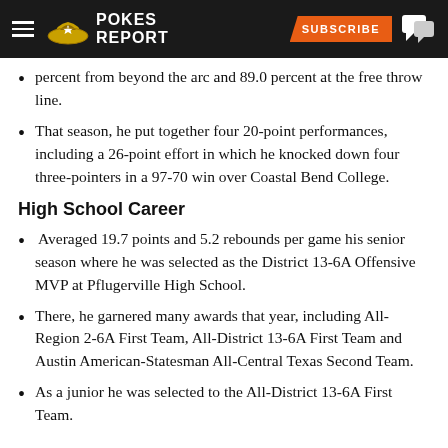POKES REPORT | SUBSCRIBE
percent from beyond the arc and 89.0 percent at the free throw line.
That season, he put together four 20-point performances, including a 26-point effort in which he knocked down four three-pointers in a 97-70 win over Coastal Bend College.
High School Career
Averaged 19.7 points and 5.2 rebounds per game his senior season where he was selected as the District 13-6A Offensive MVP at Pflugerville High School.
There, he garnered many awards that year, including All-Region 2-6A First Team, All-District 13-6A First Team and Austin American-Statesman All-Central Texas Second Team.
As a junior he was selected to the All-District 13-6A First Team.